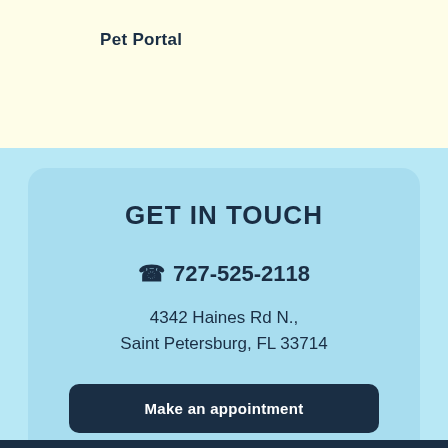Pet Portal
GET IN TOUCH
727-525-2118
4342 Haines Rd N., Saint Petersburg, FL 33714
Make an appointment